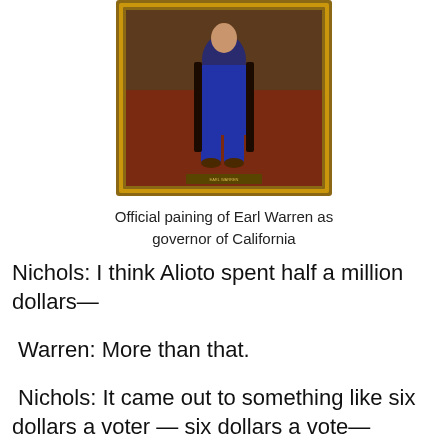[Figure (photo): Official portrait painting of Earl Warren as governor of California, shown in a gilded frame. The subject is seated wearing a blue suit against a red/brown background.]
Official paining of Earl Warren as governor of California
Nichols: I think Alioto spent half a million dollars—
Warren: More than that.
Nichols: It came out to something like six dollars a voter — six dollars a vote—
Warren: Well, I'll tell you. Of course, it'll go